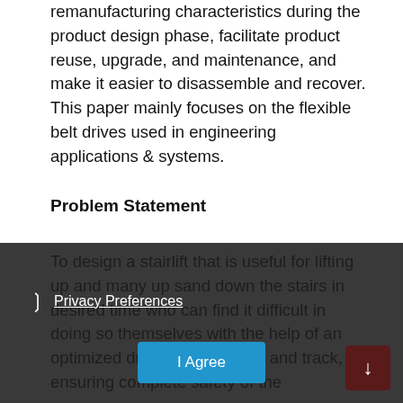remanufacturing characteristics during the product design phase, facilitate product reuse, upgrade, and maintenance, and make it easier to disassemble and recover. This paper mainly focuses on the flexible belt drives used in engineering applications & systems.
Problem Statement
To design a stairlift that is useful for lifting up and many up sand down the stairs in desired time who can find it difficult in doing so themselves with the help of an optimized driving mechanism and track, ensuring complete safety of the passenger.